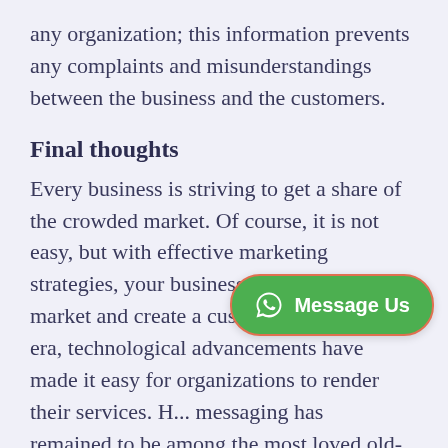any organization; this information prevents any complaints and misunderstandings between the business and the customers.
Final thoughts
Every business is striving to get a share of the crowded market. Of course, it is not easy, but with effective marketing strategies, your business can penetrate the market and create a customer base. In this era, technological advancements have made it easy for organizations to render their services. H... messaging has remained to be among the most loved old-school technology
[Figure (other): WhatsApp 'Message Us' green button overlay at bottom right]